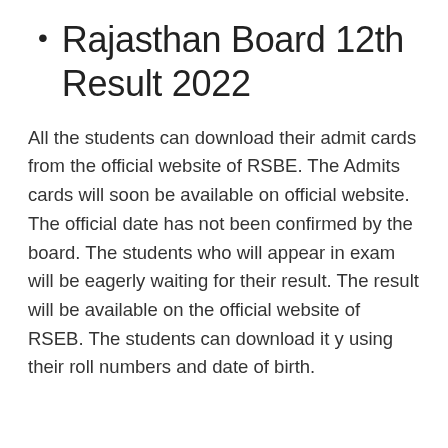Rajasthan Board 12th Result 2022
All the students can download their admit cards from the official website of RSBE. The Admits cards will soon be available on official website. The official date has not been confirmed by the board. The students who will appear in exam will be eagerly waiting for their result. The result will be available on the official website of RSEB. The students can download it y using their roll numbers and date of birth.